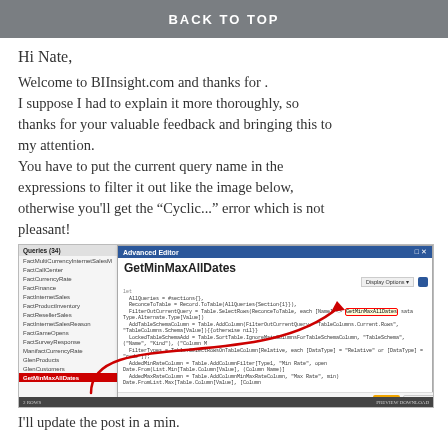BACK TO TOP
Hi Nate,
Welcome to BIInsight.com and thanks for . I suppose I had to explain it more thoroughly, so thanks for your valuable feedback and bringing this to my attention.
You have to put the current query name in the expressions to filter it out like the image below, otherwise you'll get the “Cyclic...” error which is not pleasant!
[Figure (screenshot): Screenshot of Power Query Advanced Editor showing GetMinMaxAllDates query with code, and a red curved arrow pointing from a highlighted item in the Queries list on the left to a highlighted text 'GetMinMaxAllDates' in the code on the right.]
I'll update the post in a min.